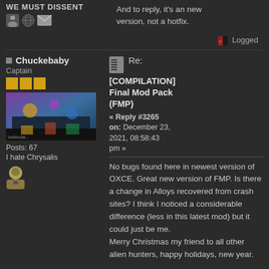WE MUST DISSENT
And to reply, it's an new version, not a hotfix.
Logged
Chuckebaby
Captain
Posts: 67
I hate Chrysalis
Re: [COMPILATION] Final Mod Pack (FMP)
« Reply #3265 on: December 23, 2021, 08:58:43 pm »
No bugs found here in newest version of OXCE. Great new version of FMP. Is there a change in Alloys recovered from crash sites? I think I noticed a considerable difference (less in this latest mod) but it could just be me. Merry Christmas my friend to all other alien hunters, happy holidays, new year.